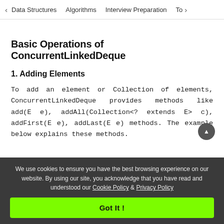< Data Structures   Algorithms   Interview Preparation   To>
Basic Operations of ConcurrentLinkedDeque
1. Adding Elements
To add an element or Collection of elements, ConcurrentLinkedDeque provides methods like add(E e), addAll(Collection<? extends E> c), addFirst(E e), addLast(E e) methods. The example below explains these methods.
We use cookies to ensure you have the best browsing experience on our website. By using our site, you acknowledge that you have read and understood our Cookie Policy & Privacy Policy
Got It !